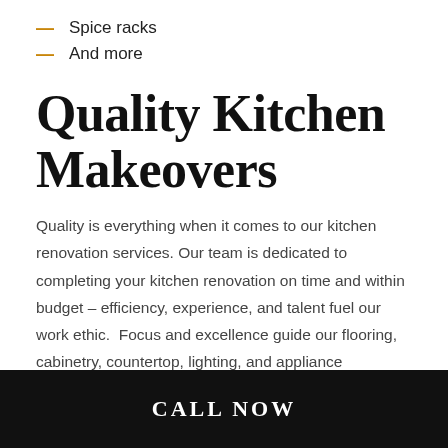Spice racks
And more
Quality Kitchen Makeovers
Quality is everything when it comes to our kitchen renovation services. Our team is dedicated to completing your kitchen renovation on time and within budget – efficiency, experience, and talent fuel our work ethic.  Focus and excellence guide our flooring, cabinetry, countertop, lighting, and appliance installations.
CALL NOW